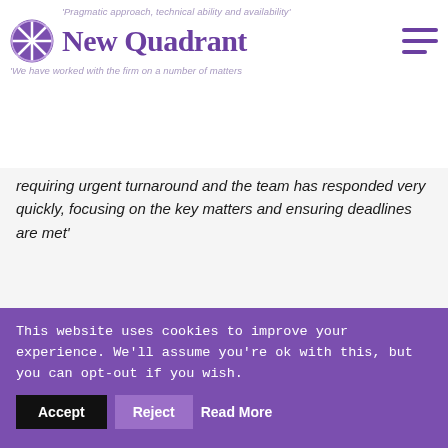'Pragmatic approach, technical ability and availability' New Quadrant 'We have worked with the firm on a number of matters
requiring urgent turnaround and the team has responded very quickly, focusing on the key matters and ensuring deadlines are met'
[Figure (infographic): Social sharing icons: Facebook (blue), Twitter (light blue), LinkedIn (blue), Email (green), Print (orange), Link (yellow-orange)]
Related News Articles
This website uses cookies to improve your experience. We'll assume you're ok with this, but you can opt-out if you wish. Accept Reject Read More